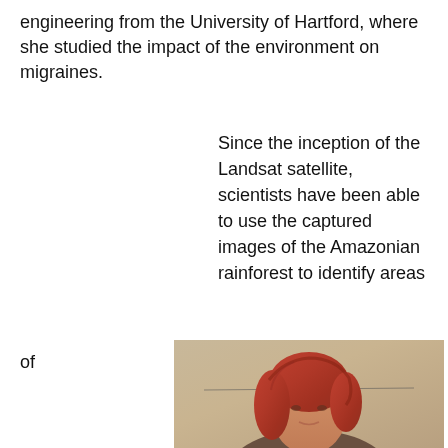engineering from the University of Hartford, where she studied the impact of the environment on migraines.
Since the inception of the Landsat satellite, scientists have been able to use the captured images of the Amazonian rainforest to identify areas of
[Figure (photo): Portrait photo of a person with red/auburn hair against a beige/tan background]